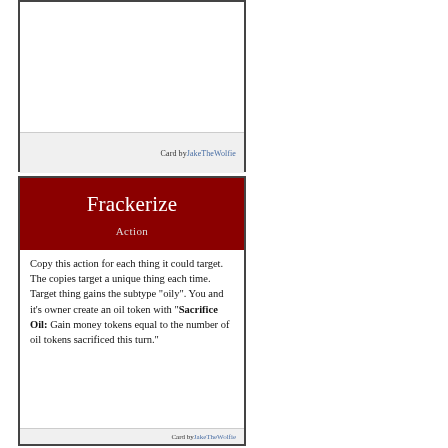[Figure (illustration): Top card image area — blank white image panel with a footer line reading 'Card by JakeTheWolfie']
Card by JakeTheWolfie
Frackerize
Action
Copy this action for each thing it could target. The copies target a unique thing each time.
Target thing gains the subtype "oily". You and it's owner create an oil token with "Sacrifice Oil: Gain money tokens equal to the number of oil tokens sacrificed this turn."
Card by JakeTheWolfie